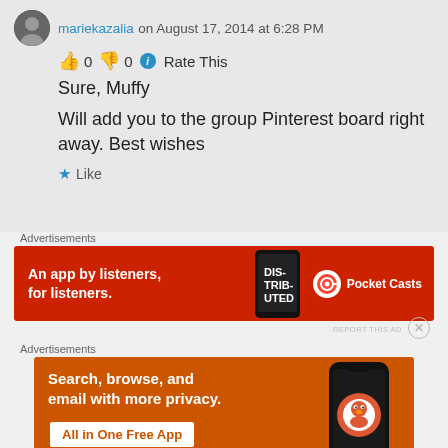mariekazalia on August 17, 2014 at 6:28 PM
👍 0 👎 0 ℹ Rate This
Sure, Muffy
Will add you to the group Pinterest board right away. Best wishes
★ Like
Advertisements
[Figure (screenshot): Pocket Casts advertisement banner: red background with text 'An app by listeners, for listeners.' with a phone showing 'Distributed' app and Pocket Casts logo]
Advertisements
[Figure (screenshot): DuckDuckGo advertisement banner: orange-red background with text 'Search, browse, and email with more privacy. All in One Free App' with DuckDuckGo logo and phone image]